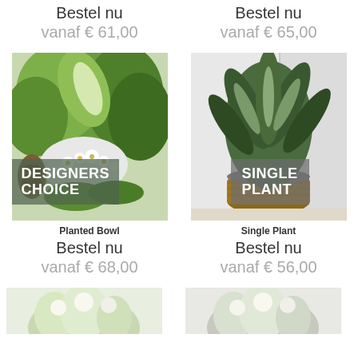Bestel nu vanaf € 61,00
Bestel nu vanaf € 65,00
[Figure (photo): Planted bowl with green tropical leaves and white flowers, DESIGNERS CHOICE badge overlay]
[Figure (photo): Single green plant in wicker pot, SINGLE PLANT badge overlay]
Planted Bowl
Bestel nu vanaf € 68,00
Single Plant
Bestel nu vanaf € 56,00
[Figure (photo): Partial view of white flower arrangement at bottom left]
[Figure (photo): Partial view of white flower arrangement at bottom right]